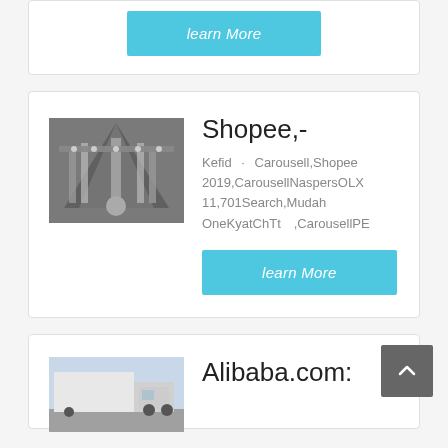learn More
Shopee,-
Kefid · Carousell,Shopee2019,CarousellNaspersOLX11,701Search,MudahOneKyatChTt,CarousellPE
learn More
[Figure (photo): Industrial machinery/mechanical components - appears to show metal industrial equipment with cylinders and geometric metal structures viewed from below]
Alibaba.com:
[Figure (photo): A truck or vehicle in a outdoor/industrial setting]